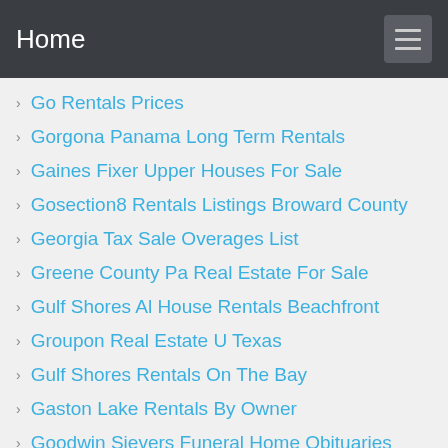Home
Go Rentals Prices
Gorgona Panama Long Term Rentals
Gaines Fixer Upper Houses For Sale
Gosection8 Rentals Listings Broward County
Georgia Tax Sale Overages List
Greene County Pa Real Estate For Sale
Gulf Shores Al House Rentals Beachfront
Groupon Real Estate U Texas
Gulf Shores Rentals On The Bay
Gaston Lake Rentals By Owner
Goodwin Sievers Funeral Home Obituaries
Gulf Coast Houses For Sale